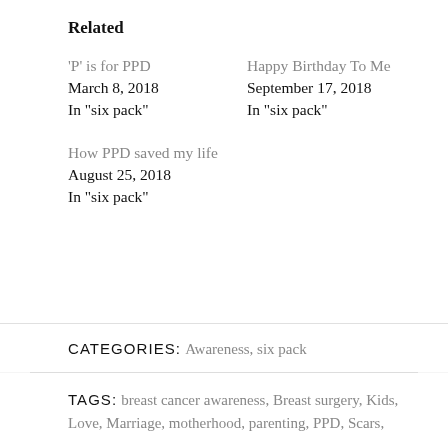Related
'P' is for PPD
March 8, 2018
In "six pack"
Happy Birthday To Me
September 17, 2018
In "six pack"
How PPD saved my life
August 25, 2018
In "six pack"
CATEGORIES: Awareness, six pack
TAGS: breast cancer awareness, Breast surgery, Kids, Love, Marriage, motherhood, parenting, PPD, Scars,